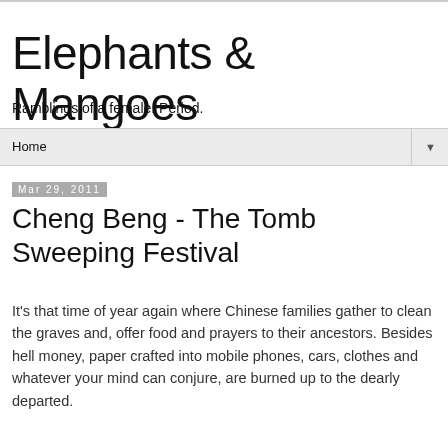Elephants & Mangoes
Ramblings of a female. Period.
Home
Mar 29, 2011
Cheng Beng - The Tomb Sweeping Festival
It's that time of year again where Chinese families gather to clean the graves and, offer food and prayers to their ancestors. Besides hell money, paper crafted into mobile phones, cars, clothes and whatever your mind can conjure, are burned up to the dearly departed.